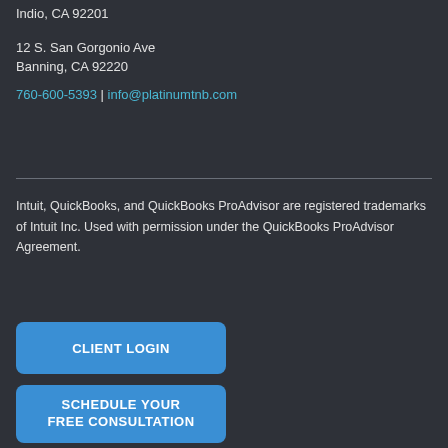Indio, CA 92201
12 S. San Gorgonio Ave
Banning, CA 92220
760-600-5393 | info@platinumtnb.com
Intuit, QuickBooks, and QuickBooks ProAdvisor are registered trademarks of Intuit Inc. Used with permission under the QuickBooks ProAdvisor Agreement.
CLIENT LOGIN
SCHEDULE YOUR FREE CONSULTATION